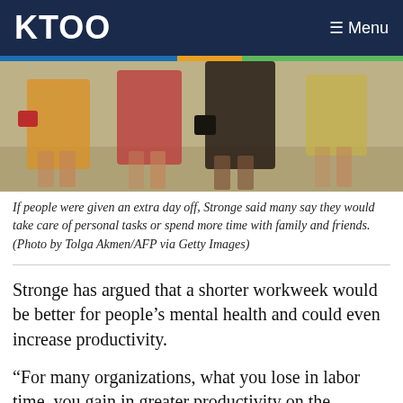KTOO   ≡ Menu
[Figure (photo): Women walking on a street, showing from waist down, wearing summer dresses and skirts, with colorful clothing and handbags.]
If people were given an extra day off, Stronge said many say they would take care of personal tasks or spend more time with family and friends. (Photo by Tolga Akmen/AFP via Getty Images)
Stronge has argued that a shorter workweek would be better for people’s mental health and could even increase productivity.
“For many organizations, what you lose in labor time, you gain in greater productivity on the